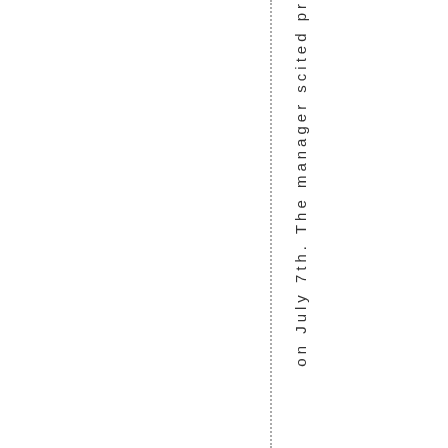on July 7th. The manager scited pr